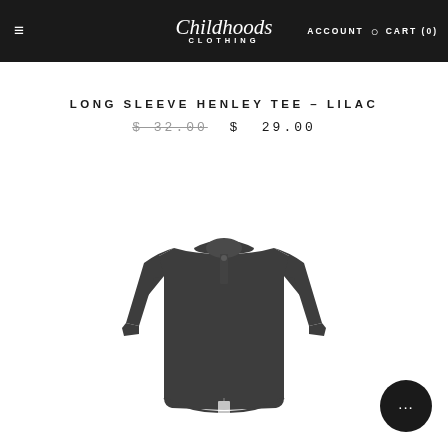≡  Childhoods Clothing  ACCOUNT  🔍  CART (0)
LONG SLEEVE HENLEY TEE - LILAC
$ 32.00  $ 29.00
[Figure (photo): A dark grey/charcoal long sleeve henley tee for children, displayed flat on a white background.]